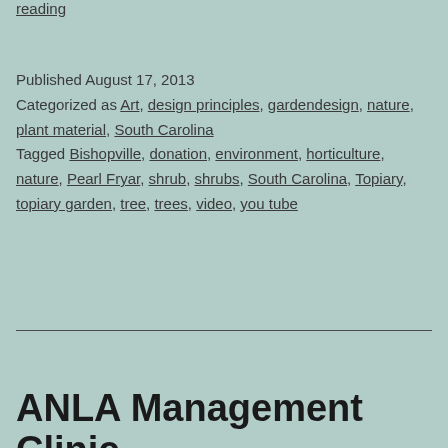reading
Published August 17, 2013
Categorized as Art, design principles, gardendesign, nature, plant material, South Carolina
Tagged Bishopville, donation, environment, horticulture, nature, Pearl Fryar, shrub, shrubs, South Carolina, Topiary, topiary garden, tree, trees, video, you tube
ANLA Management Clinic